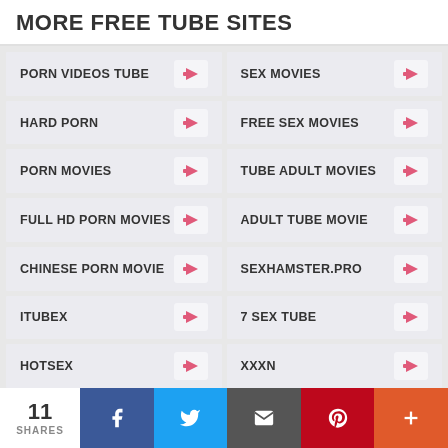MORE FREE TUBE SITES
PORN VIDEOS TUBE
SEX MOVIES
HARD PORN
FREE SEX MOVIES
PORN MOVIES
TUBE ADULT MOVIES
FULL HD PORN MOVIES
ADULT TUBE MOVIE
CHINESE PORN MOVIE
SEXHAMSTER.PRO
ITUBEX
7 SEX TUBE
HOTSEX
XXXN
11 SHARES